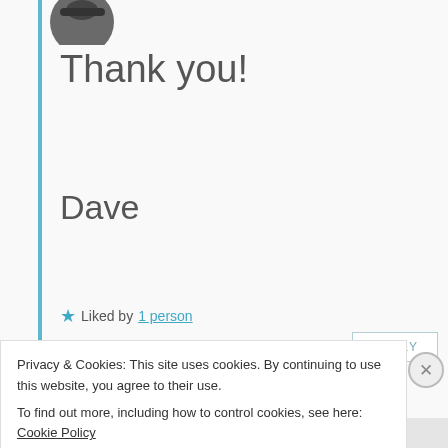[Figure (photo): Partial view of a circular avatar/profile image at top, showing the bottom portion of a dark hat or hair]
Thank you!
Dave
★ Liked by 1 person
REPLY
[Figure (photo): Circular profile photo of Max Meunier showing a person with dark hair and glasses]
Max Meunier
Privacy & Cookies: This site uses cookies. By continuing to use this website, you agree to their use.
To find out more, including how to control cookies, see here: Cookie Policy
Close and accept